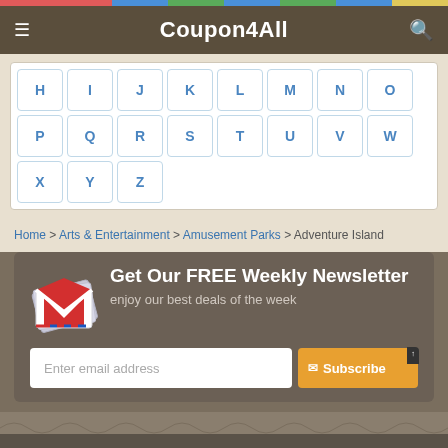Coupon4All
H I J K L M N O P Q R S T U V W X Y Z
Home > Arts & Entertainment > Amusement Parks > Adventure Island
Get Our FREE Weekly Newsletter
enjoy our best deals of the week
Enter email address | Subscribe
Copyright © 2022 Coupon4all.com